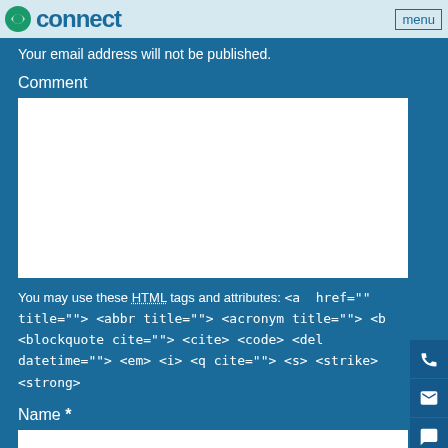connect  menu
Your email address will not be published.
Comment
[Figure (screenshot): Empty white comment textarea input box]
You may use these HTML tags and attributes: <a  href="" title=""> <abbr title=""> <acronym title=""> <b <blockquote cite=""> <cite> <code> <del datetime=""> <em> <i> <q cite=""> <s> <strike> <strong>
Name *
[Figure (screenshot): Empty white name input box]